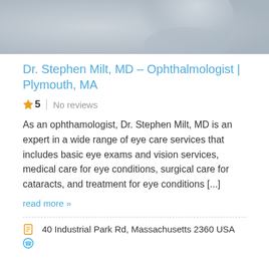[Figure (photo): Blurred/abstract bluish-grey photo, likely a medical or professional portrait placeholder]
Dr. Stephen Milt, MD – Ophthalmologist | Plymouth, MA
5   No reviews
As an ophthamologist, Dr. Stephen Milt, MD is an expert in a wide range of eye care services that includes basic eye exams and vision services, medical care for eye conditions, surgical care for cataracts, and treatment for eye conditions [...]
read more »
40 Industrial Park Rd, Massachusetts 2360 USA